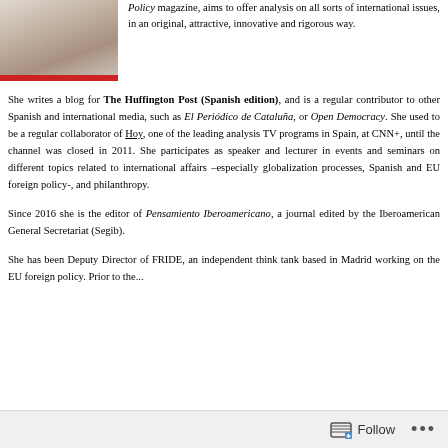[Figure (photo): Portrait photo of a woman with short light hair wearing a white top, with a red bar below the image]
Policy magazine, aims to offer analysis on all sorts of international issues, in an original, attractive, innovative and rigorous way.
She writes a blog for The Huffington Post (Spanish edition), and is a regular contributor to other Spanish and international media, such as El Periódico de Cataluña, or Open Democracy. She used to be a regular collaborator of Hoy, one of the leading analysis TV programs in Spain, at CNN+, until the channel was closed in 2011. She participates as speaker and lecturer in events and seminars on different topics related to international affairs –especially globalization processes, Spanish and EU foreign policy-, and philanthropy.
Since 2016 she is the editor of Pensamiento Iberoamericano, a journal edited by the Iberoamerican General Secretariat (Segib).
She has been Deputy Director of FRIDE, an independent think tank based in Madrid working on the EU foreign policy. Prior to the...